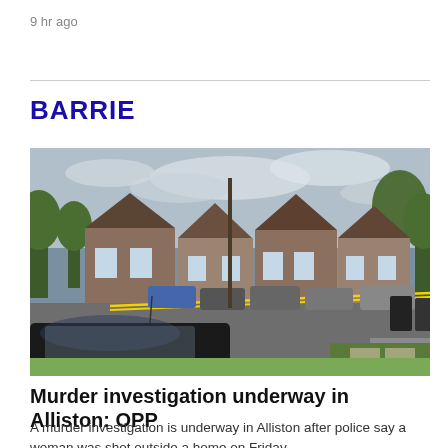9 hr ago
BARRIE
[Figure (photo): Street scene showing suburban houses with police tape (yellow crime scene tape) stretching across the road. A dark-coloured vehicle is visible in the foreground, and several other cars and emergency vehicles are parked in the background near brick homes. Trees line the street.]
Murder investigation underway in Alliston: OPP
A murder investigation is underway in Alliston after police say a woman was shot outside a home on Friday.